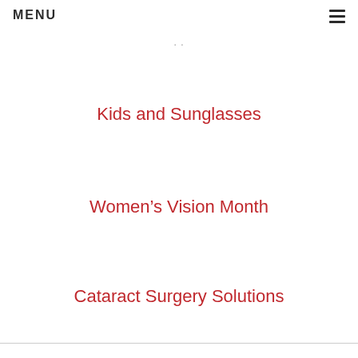MENU
...
Kids and Sunglasses
Women's Vision Month
Cataract Surgery Solutions